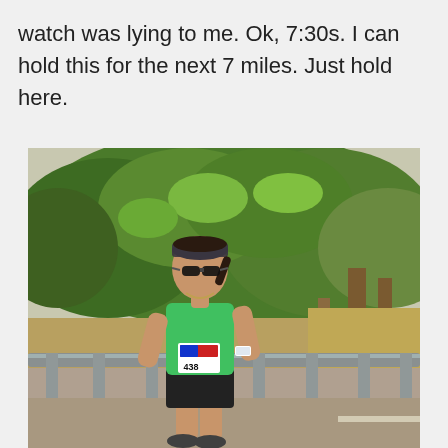watch was lying to me. Ok, 7:30s. I can hold this for the next 7 miles. Just hold here.
[Figure (photo): A female runner wearing a green tank top, black shorts, sunglasses, and a dark headband, with race bib number 438, running along a road with a metal guardrail. Green leafy trees in the background. Sunny day outdoors.]